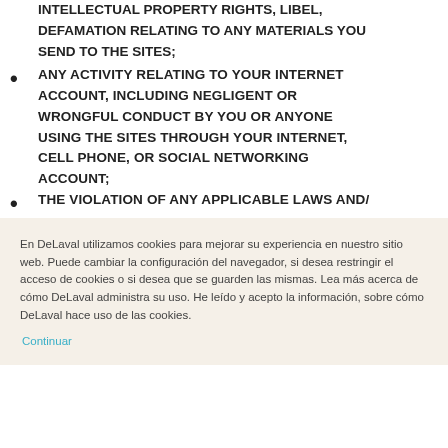INTELLECTUAL PROPERTY RIGHTS, LIBEL, DEFAMATION RELATING TO ANY MATERIALS YOU SEND TO THE SITES;
ANY ACTIVITY RELATING TO YOUR INTERNET ACCOUNT, INCLUDING NEGLIGENT OR WRONGFUL CONDUCT BY YOU OR ANYONE USING THE SITES THROUGH YOUR INTERNET, CELL PHONE, OR SOCIAL NETWORKING ACCOUNT;
THE VIOLATION OF ANY APPLICABLE LAWS AND/
En DeLaval utilizamos cookies para mejorar su experiencia en nuestro sitio web. Puede cambiar la configuración del navegador, si desea restringir el acceso de cookies o si desea que se guarden las mismas. Lea más acerca de cómo DeLaval administra su uso. He leído y acepto la información, sobre cómo DeLaval hace uso de las cookies.
Continuar